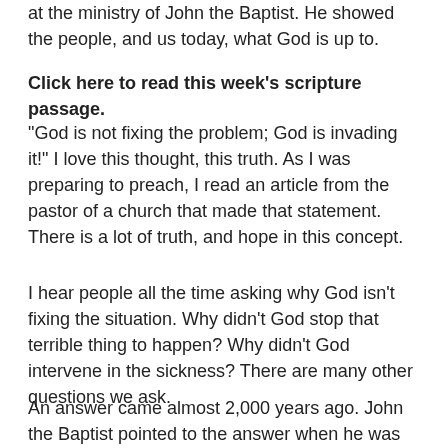at the ministry of John the Baptist. He showed the people, and us today, what God is up to.
Click here to read this week's scripture passage.
“God is not fixing the problem; God is invading it!” I love this thought, this truth. As I was preparing to preach, I read an article from the pastor of a church that made that statement. There is a lot of truth, and hope in this concept.
I hear people all the time asking why God isn’t fixing the situation. Why didn’t God stop that terrible thing to happen? Why didn’t God intervene in the sickness? There are many other questions we ask.
An answer came almost 2,000 years ago. John the Baptist pointed to the answer when he was baptizing